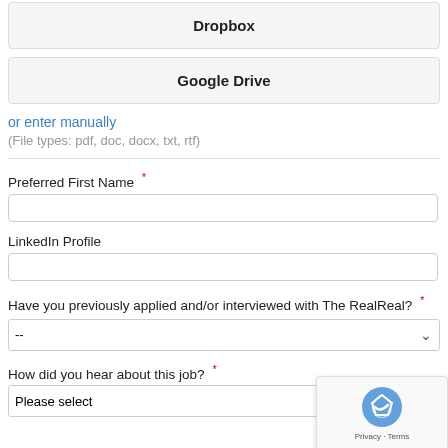[Figure (screenshot): Dropbox button - a gray rectangular button with bold text 'Dropbox']
[Figure (screenshot): Google Drive button - a gray rectangular button with bold text 'Google Drive']
or enter manually
(File types: pdf, doc, docx, txt, rtf)
Preferred First Name *
[Figure (screenshot): Text input field for Preferred First Name]
LinkedIn Profile
[Figure (screenshot): Text input field for LinkedIn Profile]
Have you previously applied and/or interviewed with The RealReal? *
[Figure (screenshot): Dropdown select field with default value '--']
How did you hear about this job? *
[Figure (screenshot): Dropdown select field with placeholder 'Please select']